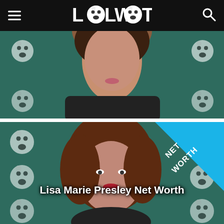LOLWOT
[Figure (photo): Top cropped photo of a woman with dark hair against a teal/green background with LOLWOT emoji face icons repeated as pattern]
[Figure (photo): Photo of Lisa Marie Presley with wavy auburn hair, red lipstick, against teal LOLWOT emoji-patterned background, with a 'NET WORTH' diagonal blue banner badge in the top-right corner]
Lisa Marie Presley Net Worth